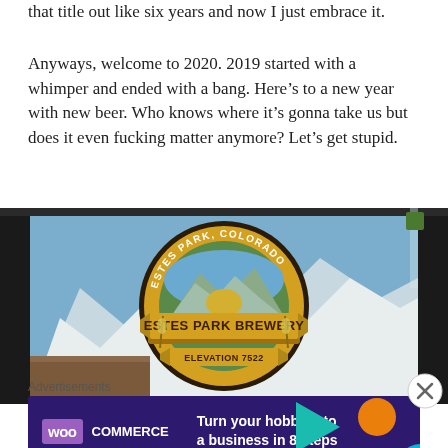that title out like six years and now I just embrace it.
Anyways, welcome to 2020. 2019 started with a whimper and ended with a bang. Here’s to a new year with new beer. Who knows where it’s gonna take us but does it even fucking matter anymore? Let’s get stupid.
[Figure (photo): A photo of Estes Park Brewery logo/sign. Circular yellow badge with text 'ESTES PARK, COLORADO' around the top, a mountain scene in the center, and a banner reading 'ESTES PARK BREWERY' across the middle. Below the banner: 'ELEVATION 7522'. Background shows snowy mountains.]
Advertisements
[Figure (other): WooCommerce advertisement banner: purple/dark background with teal triangle, orange circle, cyan arc shapes. WooCommerce logo on left, text 'Turn your hobby into a business in 8 steps' on right.]